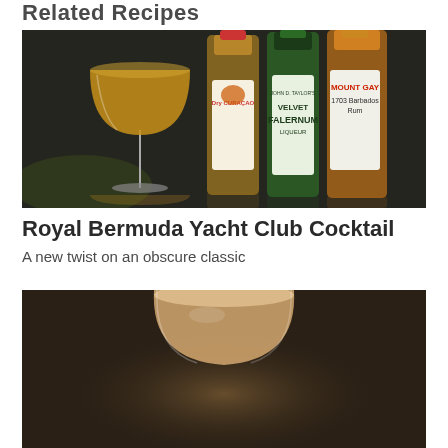Related Recipes
[Figure (photo): A cocktail glass with an orange-yellow drink alongside bottles of Dry Curaçao, John D. Taylor's Velvet Falernum Liqueur, and Mount Gay 1703 Barbados Rum on a dark marble surface.]
Royal Bermuda Yacht Club Cocktail
A new twist on an obscure classic
[Figure (photo): A coupe glass with a pale orange-peach frothy cocktail, partially visible, on a dark background.]